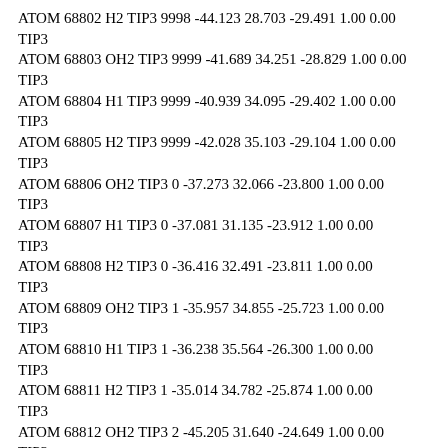ATOM 68802 H2 TIP3 9998 -44.123 28.703 -29.491 1.00 0.00 TIP3
ATOM 68803 OH2 TIP3 9999 -41.689 34.251 -28.829 1.00 0.00 TIP3
ATOM 68804 H1 TIP3 9999 -40.939 34.095 -29.402 1.00 0.00 TIP3
ATOM 68805 H2 TIP3 9999 -42.028 35.103 -29.104 1.00 0.00 TIP3
ATOM 68806 OH2 TIP3 0 -37.273 32.066 -23.800 1.00 0.00 TIP3
ATOM 68807 H1 TIP3 0 -37.081 31.135 -23.912 1.00 0.00 TIP3
ATOM 68808 H2 TIP3 0 -36.416 32.491 -23.811 1.00 0.00 TIP3
ATOM 68809 OH2 TIP3 1 -35.957 34.855 -25.723 1.00 0.00 TIP3
ATOM 68810 H1 TIP3 1 -36.238 35.564 -26.300 1.00 0.00 TIP3
ATOM 68811 H2 TIP3 1 -35.014 34.782 -25.874 1.00 0.00 TIP3
ATOM 68812 OH2 TIP3 2 -45.205 31.640 -24.649 1.00 0.00 TIP3
ATOM 68813 H1 TIP3 2 -45.972 31.108 -24.860 1.00 0.00 TIP3
ATOM 68814 H2 TIP3 2 -44.526 31.330 -25.249 1.00 0.00